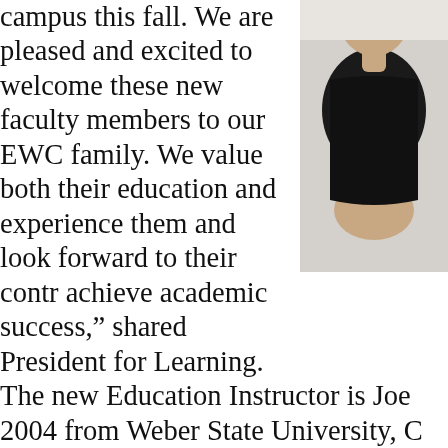[Figure (photo): Photo of a person (partial, right side of page), upper body, dark shirt, light background]
campus this fall. We are pleased and excited to welcome these new faculty members to our EWC family. We value both their education and experience them and look forward to their contr achieve academic success," shared President for Learning. The new Education Instructor is Joe 2004 from Weber State University, C Communication, Cum Laude, M.A. E University, Logan, Utah. He has tau and junior high school levels for the coached basketball and track, and h professional education services and Austin Hawks is the new Agriculture 2006, from Brigham Young Universi